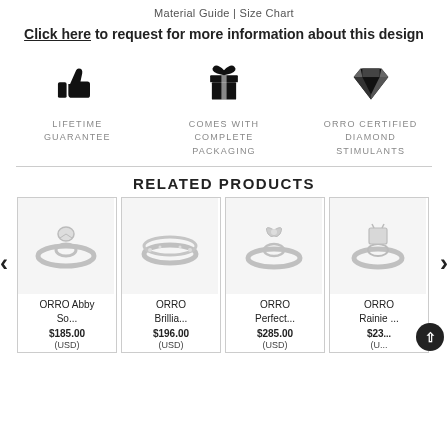Material Guide | Size Chart
Click here to request for more information about this design
[Figure (infographic): Three icons in a row: thumbs up (LIFETIME GUARANTEE), gift box (COMES WITH COMPLETE PACKAGING), diamond (ORRO CERTIFIED DIAMOND STIMULANTS)]
RELATED PRODUCTS
[Figure (infographic): Four product cards showing silver rings: ORRO Abby So... $185.00 (USD), ORRO Brillia... $196.00 (USD), ORRO Perfect... $285.00 (USD), ORRO Rainie ... $23... (USD), with left and right navigation arrows]